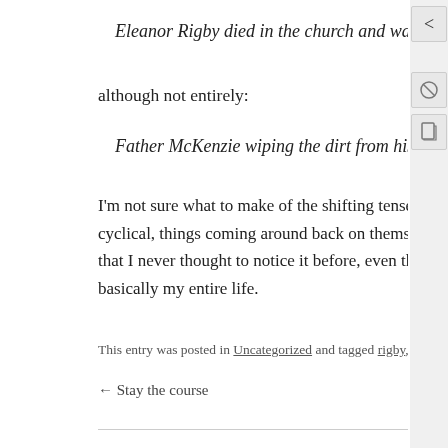Eleanor Rigby died in the church and was buried a
although not entirely:
Father McKenzie wiping the dirt from his hands as he w
I'm not sure what to make of the shifting tenses. Maybe it impli cyclical, things coming around back on themselves. But what re that I never thought to notice it before, even though the song ha basically my entire life.
This entry was posted in Uncategorized and tagged rigby, songwriting. Bookm
← Stay the course
Leave a Reply
Your email address will not be published. Required fields are m